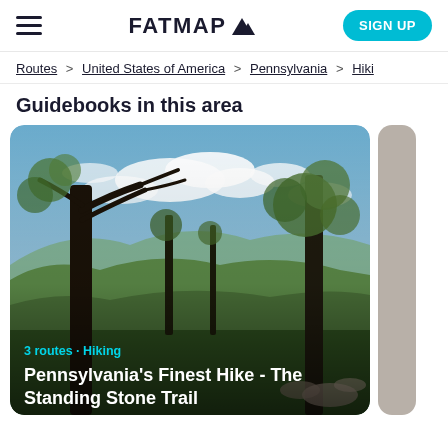FATMAP (logo with mountain icon) | SIGN UP
Routes > United States of America > Pennsylvania > Hiki…
Guidebooks in this area
[Figure (photo): Outdoor landscape photo showing trees with bare branches in foreground, rolling green hills and mountains in background under a partly cloudy blue sky. Overlaid text reads '3 routes · Hiking' in cyan and 'Pennsylvania's Finest Hike - The Standing Stone Trail' in white bold text.]
3 routes · Hiking
Pennsylvania's Finest Hike - The Standing Stone Trail